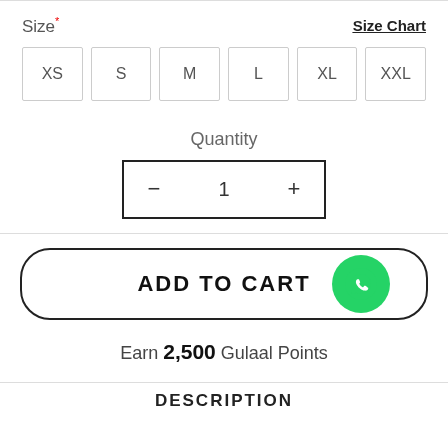Size* Size Chart
XS S M L XL XXL
Quantity
- 1 +
ADD TO CART
Earn 2,500 Gulaal Points
DESCRIPTION